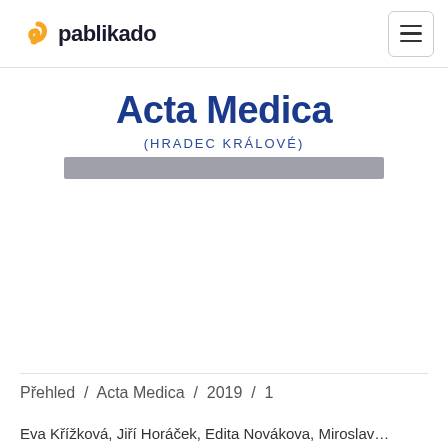pablikado
[Figure (logo): Acta Medica (Hradec Králové) journal cover showing the journal title in large dark blue bold text with subtitle in smaller uppercase letters and a grey decorative strip below]
Přehled / Acta Medica / 2019 / 1
Eva Křížková, Jiří Horáček, Edita Novákova, Miroslav...